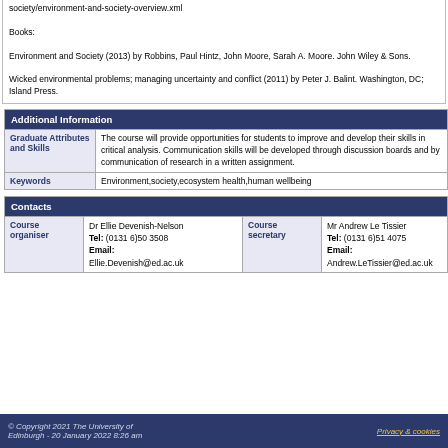society/environment-and-society-overview.xml

Books:

Environment and Society (2013) by Robbins, Paul Hintz, John Moore, Sarah A. Moore. John Wiley & Sons.

Wicked environmental problems; managing uncertainty and conflict (2011) by Peter J. Balint. Washington, DC; Island Press.
| Additional Information |  |
| --- | --- |
| Graduate Attributes and Skills | The course will provide opportunities for students to improve and develop their skills in critical analysis. Communication skills will be developed through discussion boards and by communication of research in a written assignment. |
| Keywords | Environment,society,ecosystem health,human wellbeing |
| Contacts |  |
| --- | --- |
| Course organiser | Dr Ellie Devenish-Nelson
Tel: (0131 6)50 3508
Email: Ellie.Devenish@ed.ac.uk | Course secretary | Mr Andrew Le Tissier
Tel: (0131 6)51 4075
Email: Andrew.LeTissier@ed.ac.uk |
© Copyright 2021 The University of Edinburgh - 20 January 2022 8:26 am    Privacy & cookies